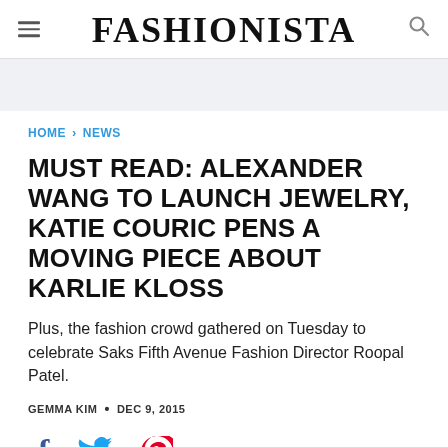FASHIONISTA
HOME > NEWS
MUST READ: ALEXANDER WANG TO LAUNCH JEWELRY, KATIE COURIC PENS A MOVING PIECE ABOUT KARLIE KLOSS
Plus, the fashion crowd gathered on Tuesday to celebrate Saks Fifth Avenue Fashion Director Roopal Patel.
GEMMA KIM • DEC 9, 2015
[Figure (other): Social sharing icons: Facebook (f), Twitter (bird), Pinterest (P)]